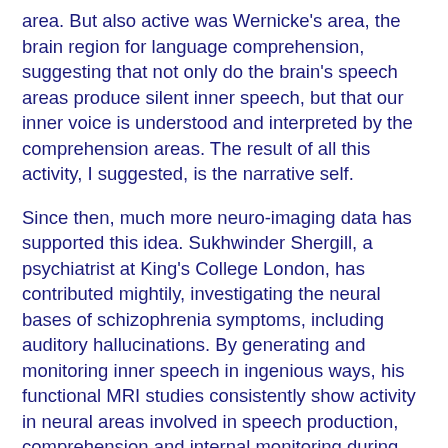area. But also active was Wernicke's area, the brain region for language comprehension, suggesting that not only do the brain's speech areas produce silent inner speech, but that our inner voice is understood and interpreted by the comprehension areas. The result of all this activity, I suggested, is the narrative self.
Since then, much more neuro-imaging data has supported this idea. Sukhwinder Shergill, a psychiatrist at King's College London, has contributed mightily, investigating the neural bases of schizophrenia symptoms, including auditory hallucinations. By generating and monitoring inner speech in ingenious ways, his functional MRI studies consistently show activity in neural areas involved in speech production, comprehension and internal monitoring during silent inner speech. This fits nicely with Gazzaniga's idea about the left hemisphere interpreter's role in creating the autobiographical self.